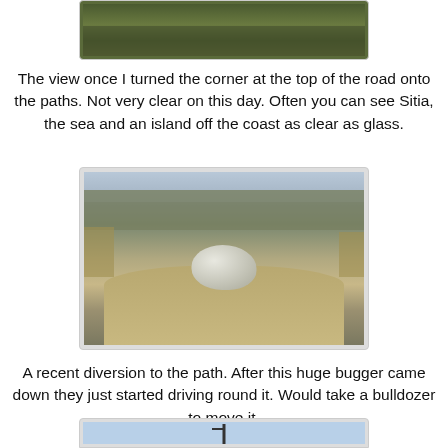[Figure (photo): Top portion of a photo showing a hillside with dry grass and shrubs, partially cut off at top of page]
The view once I turned the corner at the top of the road onto the paths. Not very clear on this day. Often you can see Sitia, the sea and an island off the coast as clear as glass.
[Figure (photo): A dirt path on a hillside with a large white boulder/rock sitting in the middle of the path. Rocky terrain with dry grass and sparse vegetation. A village and hills visible in the background.]
A recent diversion to the path. After this huge bugger came down they just started driving round it. Would take a bulldozer to move it.
[Figure (photo): Bottom of page, partial view of another photo showing a light blue sky and what appears to be a cross or antenna structure]